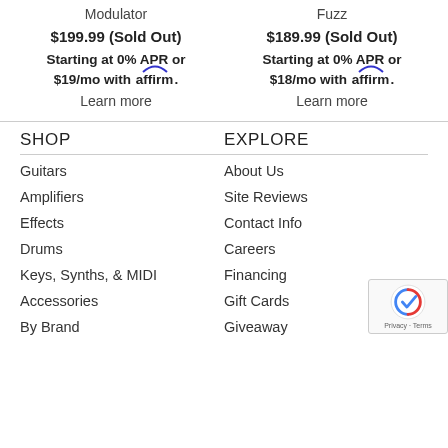Modulator
$199.99 (Sold Out)
Starting at 0% APR or $19/mo with affirm. Learn more
Fuzz
$189.99 (Sold Out)
Starting at 0% APR or $18/mo with affirm. Learn more
SHOP
EXPLORE
Guitars
About Us
Amplifiers
Site Reviews
Effects
Contact Info
Drums
Careers
Keys, Synths, & MIDI
Financing
Accessories
Gift Cards
By Brand
Giveaway